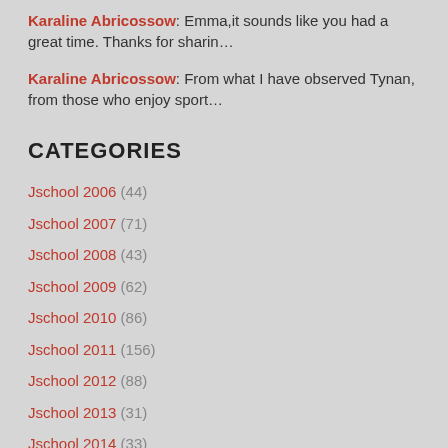Karaline Abricossow: Emma,it sounds like you had a great time. Thanks for sharin…
Karaline Abricossow: From what I have observed Tynan, from those who enjoy sport…
CATEGORIES
Jschool 2006 (44)
Jschool 2007 (71)
Jschool 2008 (43)
Jschool 2009 (62)
Jschool 2010 (86)
Jschool 2011 (156)
Jschool 2012 (88)
Jschool 2013 (31)
Jschool 2014 (33)
Jschool 2015 (31)